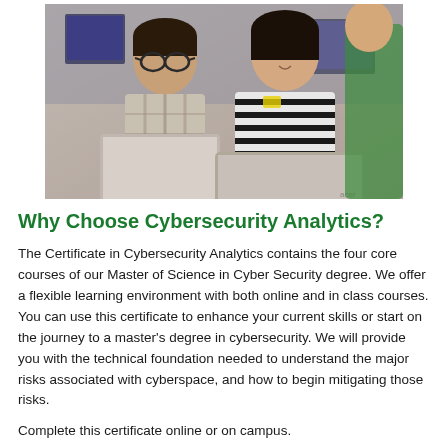[Figure (photo): Two students, a man and a woman, looking at a laptop screen together in a computer lab setting. Other students visible in background.]
Why Choose Cybersecurity Analytics?
The Certificate in Cybersecurity Analytics contains the four core courses of our Master of Science in Cyber Security degree. We offer a flexible learning environment with both online and in class courses. You can use this certificate to enhance your current skills or start on the journey to a master's degree in cybersecurity. We will provide you with the technical foundation needed to understand the major risks associated with cyberspace, and how to begin mitigating those risks.
Complete this certificate online or on campus.